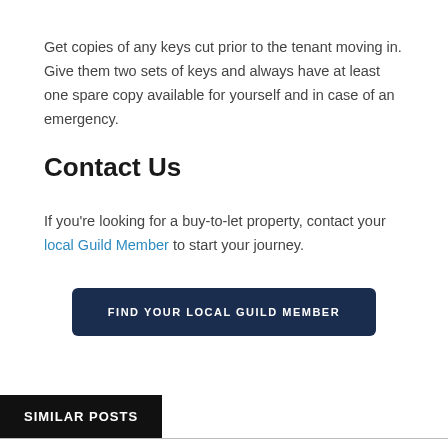Get copies of any keys cut prior to the tenant moving in. Give them two sets of keys and always have at least one spare copy available for yourself and in case of an emergency.
Contact Us
If you're looking for a buy-to-let property, contact your local Guild Member to start your journey.
[Figure (other): Dark navy button with text FIND YOUR LOCAL GUILD MEMBER]
SIMILAR POSTS